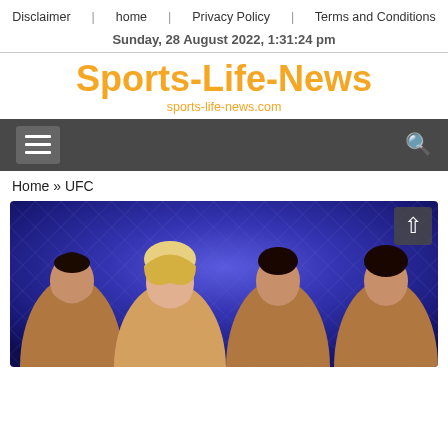Disclaimer | home | Privacy Policy | Terms and Conditions
Sunday, 28 August 2022, 1:31:24 pm
Sports-Life-News
sports-life-news.com
[Figure (screenshot): Dark navigation bar with hamburger menu icon on left and search icon on right]
Home » UFC
[Figure (photo): Four women at a UFC event smiling in front of a blue octagon fence backdrop, with a scroll-up arrow button in the top right corner of the image]